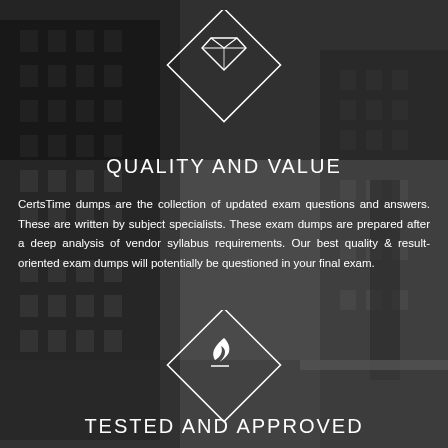[Figure (illustration): Black and white cityscape/canal background with brick buildings]
[Figure (illustration): White diamond-shaped frame with a diamond gem icon inside, top section]
QUALITY AND VALUE
CertsTime dumps are the collection of updated exam questions and answers. These are written by subject specialists. These exam dumps are prepared after a deep analysis of vendor syllabus requirements. Our best quality & result-oriented exam dumps will potentially be questioned in your final exam.
[Figure (illustration): White diamond-shaped frame with a flame/torch icon inside, bottom section]
TESTED AND APPROVED